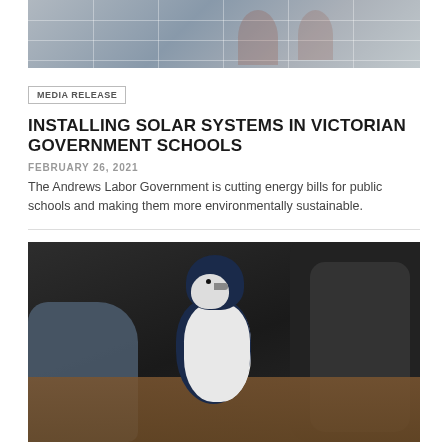[Figure (photo): Partial view of solar panels on a roof, showing reflective grid surface]
MEDIA RELEASE
INSTALLING SOLAR SYSTEMS IN VICTORIAN GOVERNMENT SCHOOLS
FEBRUARY 26, 2021
The Andrews Labor Government is cutting energy bills for public schools and making them more environmentally sustainable.
[Figure (photo): A small blue and white penguin standing on muddy ground between dark rocks]
MEDIA RELEASE
ST KILDA PENGUIN PARADE RE-OPENS TO VISITORS
FEBRUARY 22, 2021